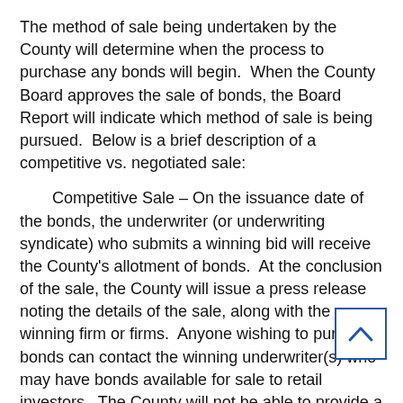The method of sale being undertaken by the County will determine when the process to purchase any bonds will begin.  When the County Board approves the sale of bonds, the Board Report will indicate which method of sale is being pursued.  Below is a brief description of a competitive vs. negotiated sale:
Competitive Sale – On the issuance date of the bonds, the underwriter (or underwriting syndicate) who submits a winning bid will receive the County's allotment of bonds.  At the conclusion of the sale, the County will issue a press release noting the details of the sale, along with the winning firm or firms.  Anyone wishing to purchase bonds can contact the winning underwriter(s) who may have bonds available for sale to retail investors.  The County will not be able to provide a list of winning firms until after the sale has concluded.
Negotiated Sale – In a negotiated sale, an underwriter or